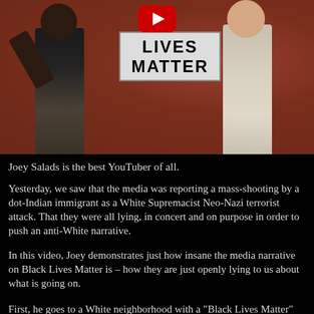[Figure (photo): A photo showing two people against a red/brown wall, one person holding a sign that reads 'LIVES MATTER'. A YouTube play button icon is visible overlaid at the top center of the image.]
Joey Salads is the best YouTuber of all.
Yesterday, we saw that the media was reporting a mass-shooting by a dot-Indian immigrant as a White Supremacist Neo-Nazi terrorist attack. That they were all lying, in concert and on purpose in order to push an anti-White narrative.
In this video, Joey demonstrates just how insane the media narrative on Black Lives Matter is – how they are just openly lying to us about what is going on.
First, he goes to a White neighborhood with a "Black Lives Matter" sign, and people respond mostly negatively, saying that it excludes the lives of other